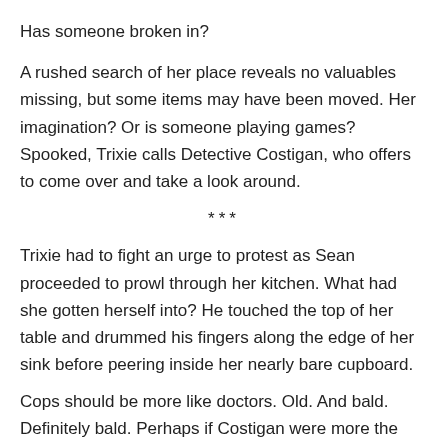Has someone broken in?
A rushed search of her place reveals no valuables missing, but some items may have been moved. Her imagination? Or is someone playing games? Spooked, Trixie calls Detective Costigan, who offers to come over and take a look around.
***
Trixie had to fight an urge to protest as Sean proceeded to prowl through her kitchen. What had she gotten herself into? He touched the top of her table and drummed his fingers along the edge of her sink before peering inside her nearly bare cupboard.
Cops should be more like doctors. Old. And bald. Definitely bald. Perhaps if Costigan were more the